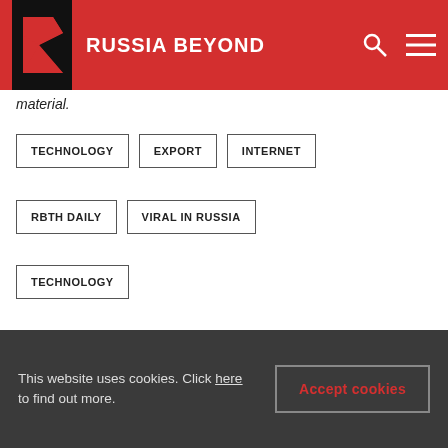RUSSIA BEYOND
material.
TECHNOLOGY
EXPORT
INTERNET
RBTH DAILY
VIRAL IN RUSSIA
TECHNOLOGY
[Figure (other): Social share icons: Twitter, Reddit, WhatsApp, Telegram, Pinterest]
Subscribe
This website uses cookies. Click here to find out more.
Accept cookies